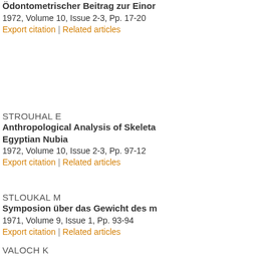Ödontometrischer Beitrag zur Einor
1972, Volume 10, Issue 2-3, Pp. 17-20
Export citation | Related articles
STROUHAL E
Anthropological Analysis of Skeleta Egyptian Nubia
1972, Volume 10, Issue 2-3, Pp. 97-12
Export citation | Related articles
STLOUKAL M
Symposion über das Gewicht des m
1971, Volume 9, Issue 1, Pp. 93-94
Export citation | Related articles
VALOCH K
Die Steinindustrie von der Fundstell Kůlna bei Sloup (Mähren)
1967, Volume 5, Issue 1, Pp. 21-31